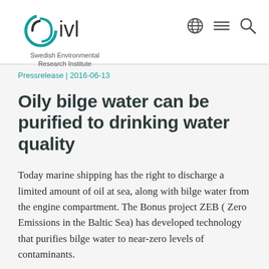[Figure (logo): IVL Swedish Environmental Research Institute logo with teal circular swirl and text]
Pressrelease | 2016-06-13
Oily bilge water can be purified to drinking water quality
Today marine shipping has the right to discharge a limited amount of oil at sea, along with bilge water from the engine compartment. The Bonus project ZEB ( Zero Emissions in the Baltic Sea) has developed technology that purifies bilge water to near-zero levels of contaminants.